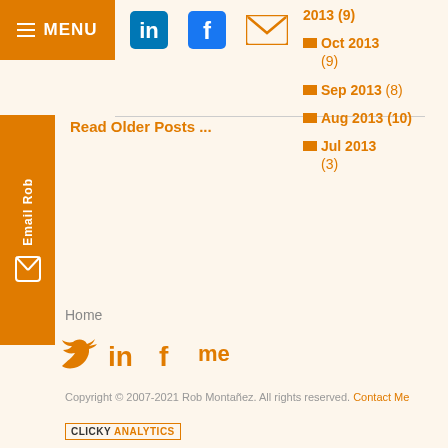MENU
2013 (9)
Oct 2013 (9)
Sep 2013 (8)
Aug 2013 (10)
Jul 2013 (3)
Read Older Posts ...
Email Rob
Home
Copyright © 2007-2021 Rob Montañez. All rights reserved. Contact Me
[Figure (logo): Clicky Analytics badge]